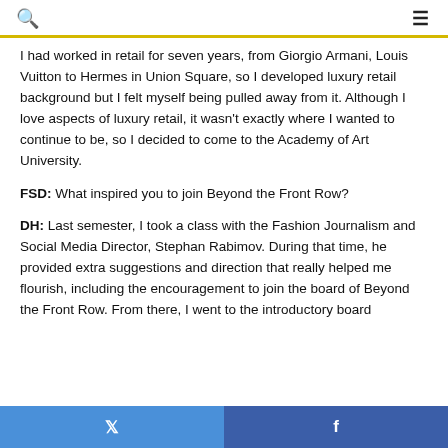🔍 ≡
I had worked in retail for seven years, from Giorgio Armani, Louis Vuitton to Hermes in Union Square, so I developed luxury retail background but I felt myself being pulled away from it. Although I love aspects of luxury retail, it wasn't exactly where I wanted to continue to be, so I decided to come to the Academy of Art University.
FSD: What inspired you to join Beyond the Front Row?
DH: Last semester, I took a class with the Fashion Journalism and Social Media Director, Stephan Rabimov. During that time, he provided extra suggestions and direction that really helped me flourish, including the encouragement to join the board of Beyond the Front Row. From there, I went to the introductory board
🐦   f